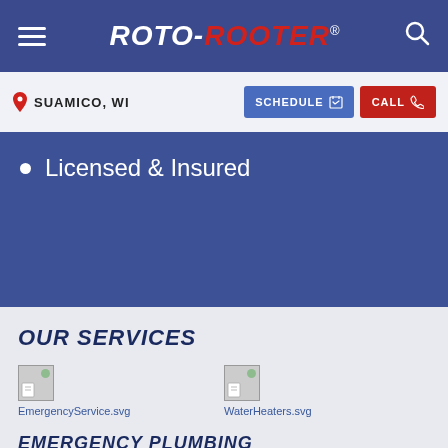ROTO-ROOTER®
SUAMICO, WI  SCHEDULE  CALL
Licensed & Insured
OUR SERVICES
[Figure (illustration): EmergencyService.svg icon placeholder]
EmergencyService.svg
[Figure (illustration): WaterHeaters.svg icon placeholder]
WaterHeaters.svg
EMERGENCY PLUMBING